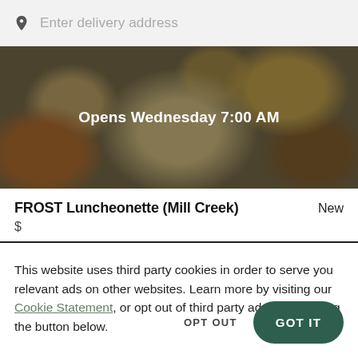Enter delivery address
[Figure (photo): Hero image of food items on plates with a dark overlay, showing text 'Opens Wednesday 7:00 AM']
Opens Wednesday 7:00 AM
FROST Luncheonette (Mill Creek)
New
$
This website uses third party cookies in order to serve you relevant ads on other websites. Learn more by visiting our Cookie Statement, or opt out of third party ad cookies using the button below.
OPT OUT
GOT IT